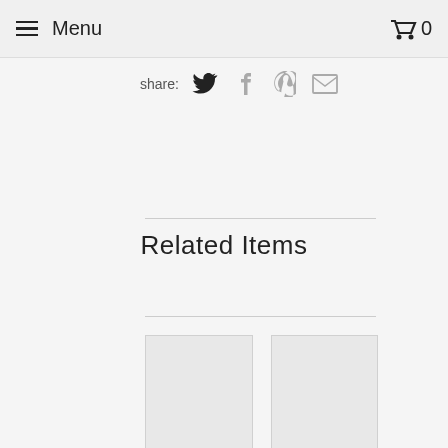Menu   0
Share:
Related Items
[Figure (photo): Product image placeholder - left card, gray rectangle]
BIRTHDAY, THE WHOLE GLASS PARTY THE DECORATIONS, THE DECORATIONS, THE PRINTABLES, THE INVITATIONS, THE IDEAS, HIS WORRIES
[Figure (photo): Product image placeholder - right card, gray rectangle]
THE WHOLE PARTY DECORATIONS, THE BIRTHDAY PARTY, THE WORRIES, THANK VOUCHERS, THANK